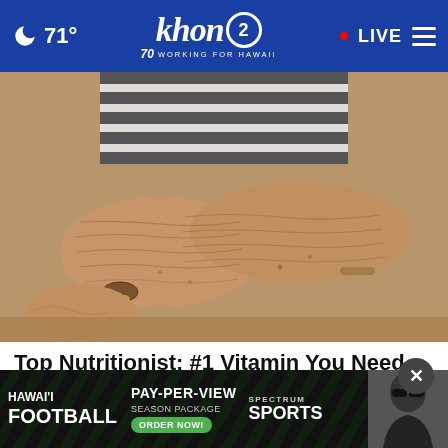71° khon2 WORKING FOR HAWAII • LIVE
[Figure (photo): Close-up photo of an elderly person's arms with wrinkled, crepey skin resting on a surface, wearing a striped shirt. A bracelet with beads is visible on the wrist.]
Top Nutritionist: #1 Vitamin You Need for Crepe Skin
Dr. Ke...
[Figure (other): Advertisement banner: HAWAI'I FOOTBALL PAY-PER-VIEW SEASON PACKAGE ORDER NOW! SPECTRUM SPORTS — with photo of a football coach wearing sunglasses]